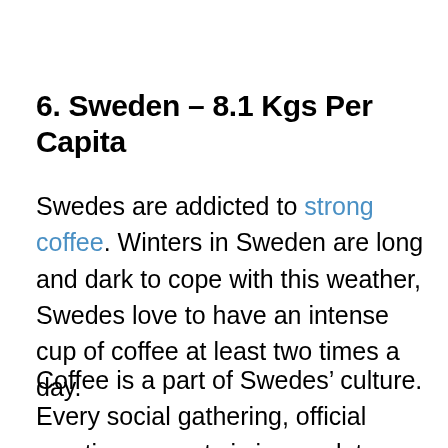6. Sweden – 8.1 Kgs Per Capita
Swedes are addicted to strong coffee. Winters in Sweden are long and dark to cope with this weather, Swedes love to have an intense cup of coffee at least two times a day.
Coffee is a part of Swedes' culture. Every social gathering, official meeting, or party is incomplete without serving of a black and